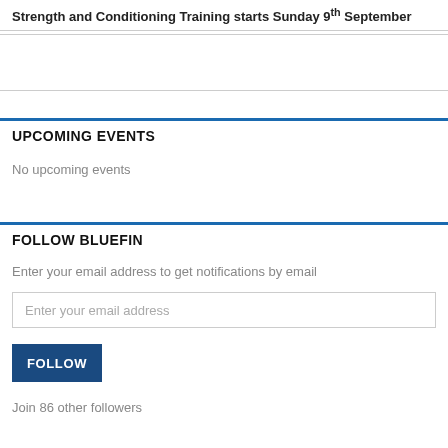Strength and Conditioning Training starts Sunday 9th September
UPCOMING EVENTS
No upcoming events
FOLLOW BLUEFIN
Enter your email address to get notifications by email
Enter your email address
FOLLOW
Join 86 other followers